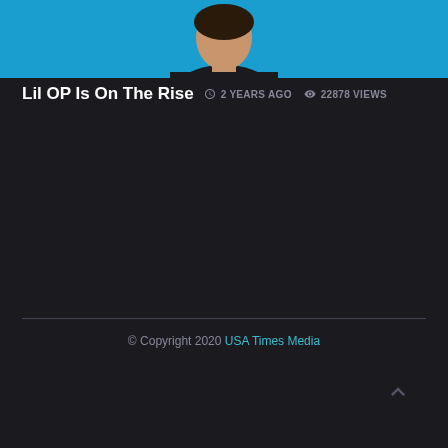[Figure (illustration): Top portion of an article hero image showing a person with dark hair wearing a black shirt against a cyan/blue background]
Lil OP Is On The Rise
2 YEARS AGO   22878 VIEWS
© Copyright 2020 USA Times Media